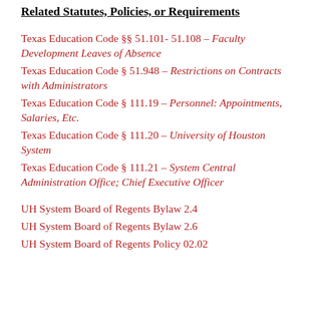Related Statutes, Policies, or Requirements
Texas Education Code §§ 51.101- 51.108 – Faculty Development Leaves of Absence
Texas Education Code § 51.948 – Restrictions on Contracts with Administrators
Texas Education Code § 111.19 – Personnel: Appointments, Salaries, Etc.
Texas Education Code § 111.20 – University of Houston System
Texas Education Code § 111.21 – System Central Administration Office; Chief Executive Officer
UH System Board of Regents Bylaw 2.4
UH System Board of Regents Bylaw 2.6
UH System Board of Regents Policy 02.02